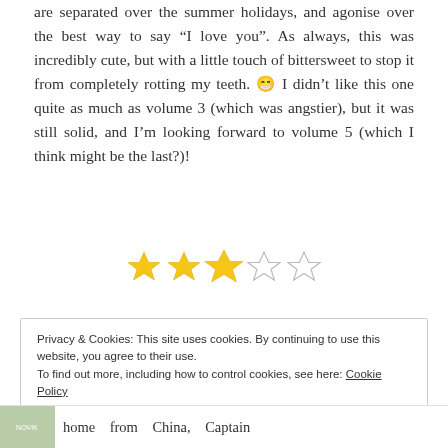are separated over the summer holidays, and agonise over the best way to say “I love you”. As always, this was incredibly cute, but with a little touch of bittersweet to stop it from completely rotting my teeth. 😁 I didn’t like this one quite as much as volume 3 (which was angstier), but it was still solid, and I’m looking forward to volume 5 (which I think might be the last?)!
[Figure (other): Star rating showing 3 out of 5 stars: three filled yellow stars and two empty/outline stars]
Privacy & Cookies: This site uses cookies. By continuing to use this website, you agree to their use.
To find out more, including how to control cookies, see here: Cookie Policy
Close and accept
home from China, Captain